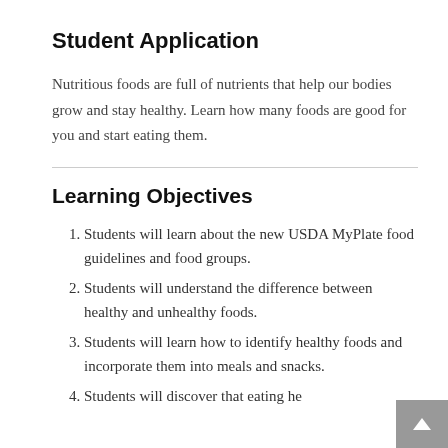Student Application
Nutritious foods are full of nutrients that help our bodies grow and stay healthy. Learn how many foods are good for you and start eating them.
Learning Objectives
Students will learn about the new USDA MyPlate food guidelines and food groups.
Students will understand the difference between healthy and unhealthy foods.
Students will learn how to identify healthy foods and incorporate them into meals and snacks.
Students will discover that eating he